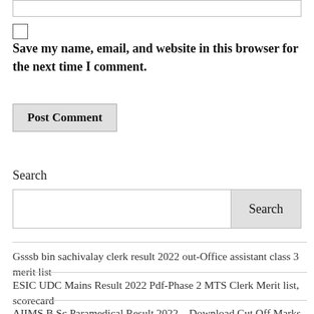Save my name, email, and website in this browser for the next time I comment.
Post Comment
Search
Gsssb bin sachivalay clerk result 2022 out-Office assistant class 3 merit list
ESIC UDC Mains Result 2022 Pdf-Phase 2 MTS Clerk Merit list, scorecard
AIIMS B.Sc Paramedical Result 2022 – Download Cut Off Marks Rank List